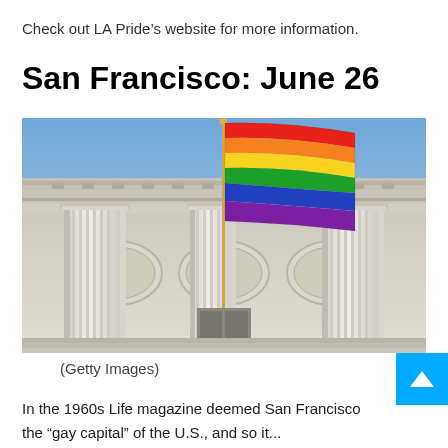Check out LA Pride’s website for more information.
San Francisco: June 26
[Figure (photo): A rainbow pride flag flying on a flagpole in front of a large neoclassical building with white columns, photographed from below against a blue sky.]
(Getty Images)
In the 1960s Life magazine deemed San Francisco the “gay capital” of the U.S., and so it...